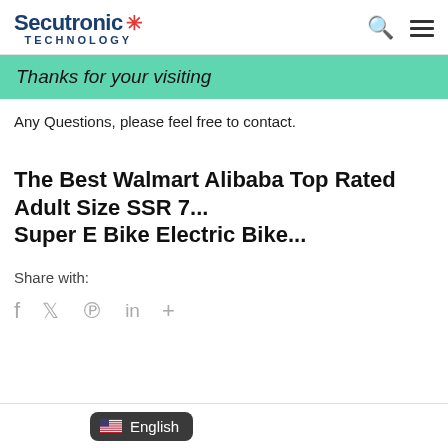Secutronic TECHNOLOGY
Thanks for your visiting
Any Questions, please feel free to contact.
The Best Walmart Alibaba Top Rated Adult Size SSR 7... Super E Bike Electric Dirt Bike...
Share with:
f  ⌂  ℗  in  +
🇺🇸 English